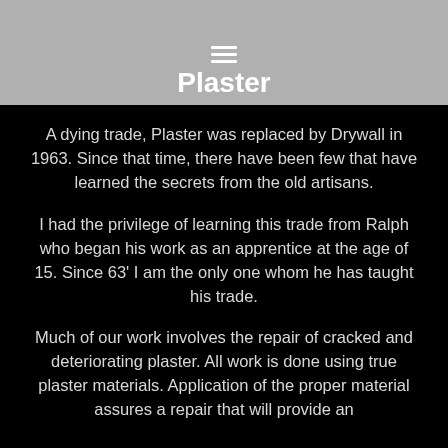Plaster
A dying trade, Plaster was replaced by Drywall in 1963. Since that time, there have been few that have learned the secrets from the old artisans.
I had the privilege of learning this trade from Ralph who began his work as an apprentice at the age of 15. Since 63' I am the only one whom he has taught his trade.
Much of our work involves the repair of cracked and deteriorating plaster. All work is done using true plaster materials. Application of the proper material assures a repair that will provide an